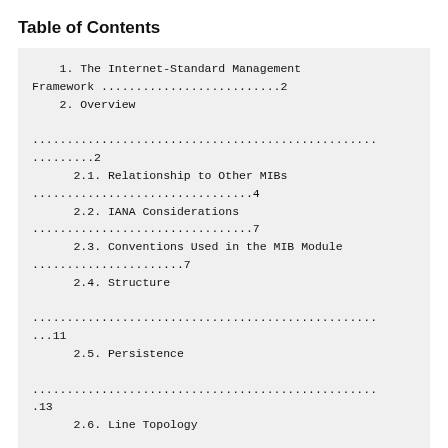Table of Contents
1. The Internet-Standard Management Framework .......................2
   2. Overview
..................................................
.........2
      2.1. Relationship to Other MIBs
...............................4
      2.2. IANA Considerations
...............................7
      2.3. Conventions Used in the MIB Module
......................7
      2.4. Structure
.................................................
...11
      2.5. Persistence
.................................................
.13
      2.6. Line Topology
.......................................1
6